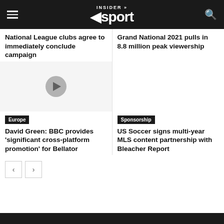INSIDER sport
National League clubs agree to immediately conclude campaign
Grand National 2021 pulls in 8.8 million peak viewership
[Figure (other): Video play button placeholder on grey background]
Europe
Sponsorship
David Green: BBC provides 'significant cross-platform promotion' for Bellator
US Soccer signs multi-year MLS content partnership with Bleacher Report